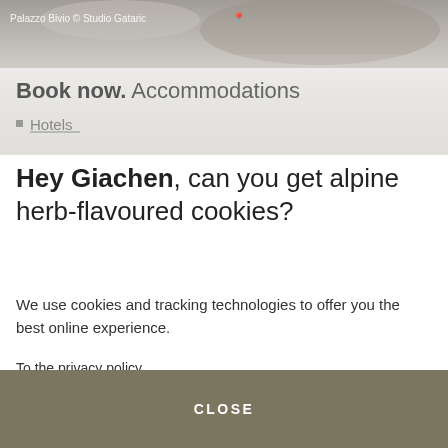[Figure (photo): Top portion of a website screenshot showing a blurred alpine/interior image with text overlay 'Palazzo Bivio © Studio Gataric' and a location pin icon. Below the image is a navigation/booking section with 'Book now. Accommodations' heading and 'Hotels' list item.]
Hey Giachen, can you get alpine herb-flavoured cookies?
We use cookies and tracking technologies to offer you the best online experience.
To the privacy policy
CLOSE